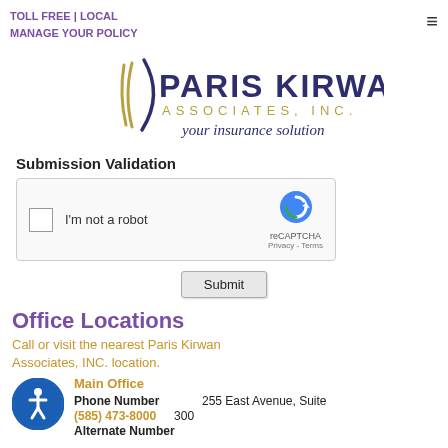TOLL FREE | LOCAL
MANAGE YOUR POLICY
[Figure (logo): Paris Kirwan Associates, Inc. logo with decorative swoosh marks and tagline 'your insurance solution']
Submission Validation
[Figure (screenshot): reCAPTCHA widget with checkbox labeled 'I'm not a robot']
Submit
Office Locations
Call or visit the nearest Paris Kirwan Associates, INC. location.
Main Office
Phone Number
(585) 473-8000
Alternate Number
255 East Avenue, Suite 300